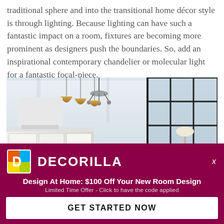traditional sphere and into the transitional home décor style is through lighting. Because lighting can have such a fantastic impact on a room, fixtures are becoming more prominent as designers push the boundaries. So, add an inspirational contemporary chandelier or molecular light for a fantastic focal-piece.
[Figure (photo): Interior photo of a transitional-style open-plan living room with high ceilings, large black-framed grid windows, pendant lights over a kitchen counter, a blue sofa with pillows, an indoor plant, and a chandelier.]
[Figure (infographic): Decorilla advertisement overlay with dark magenta/crimson background. Shows Decorilla logo (colorful D icon), brand name DECORILLA, close button X, headline 'Design At Home: $100 Off Your New Room Design', subline 'Limited Time Offer - Click to have the code applied', and a white CTA button 'GET STARTED NOW'.]